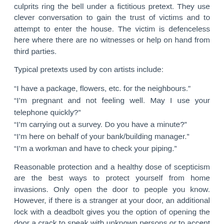culprits ring the bell under a fictitious pretext. They use clever conversation to gain the trust of victims and to attempt to enter the house. The victim is defenceless here where there are no witnesses or help on hand from third parties.
Typical pretexts used by con artists include:
“I have a package, flowers, etc. for the neighbours.” “I’m pregnant and not feeling well. May I use your telephone quickly?” “I’m carrying out a survey. Do you have a minute?” “I’m here on behalf of your bank/building manager.” “I’m a workman and have to check your piping.”
Reasonable protection and a healthy dose of scepticism are the best ways to protect yourself from home invasions. Only open the door to people you know. However, if there is a stranger at your door, an additional lock with a deadbolt gives you the option of opening the door a crack to speak with unknown persons or to accept small objects.
Tips for self-protection: